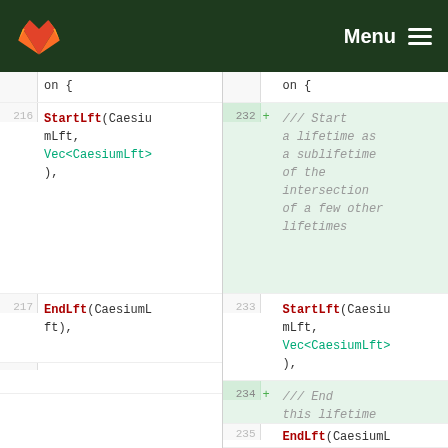Menu
[Figure (screenshot): GitLab diff view showing code changes with line numbers. Left panel shows original code (lines 216-217) with StartLft(CaesiumLft, Vec<CaesiumLft>), and EndLft(CaesiumLft),. Right panel shows new code (lines 232-236) with added lines including comments '/// Start a lifetime as a sublifetime of the intersection of a few other lifetimes', '/// End this lifetime', and '/// Extend this lifetime'. Both panels show on { at top. Lines 233 and 235 show matching StartLft and EndLft entries.]